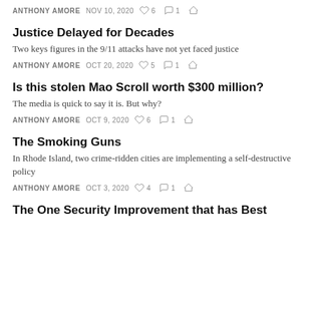ANTHONY AMORE   NOV 10, 2020   ♡ 6   ○ 1
Justice Delayed for Decades
Two keys figures in the 9/11 attacks have not yet faced justice
ANTHONY AMORE   OCT 20, 2020   ♡ 5   ○ 1
Is this stolen Mao Scroll worth $300 million?
The media is quick to say it is. But why?
ANTHONY AMORE   OCT 9, 2020   ♡ 6   ○ 1
The Smoking Guns
In Rhode Island, two crime-ridden cities are implementing a self-destructive policy
ANTHONY AMORE   OCT 3, 2020   ♡ 4   ○ 1
The One Security Improvement that has Best